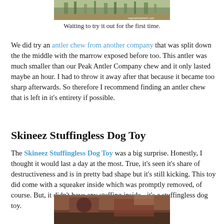[Figure (photo): Photo of outdoor scene with grasses and a watermark reading mypositivelytech.com]
Waiting to try it out for the first time.
We did try an antler chew from another company that was split down the the middle with the marrow exposed before too. This antler was much smaller than our Peak Antler Company chew and it only lasted maybe an hour. I had to throw it away after that because it became too sharp afterwards. So therefore I recommend finding an antler chew that is left in it's entirety if possible.
Skineez Stuffingless Dog Toy
The Skineez Stuffingless Dog Toy was a big surprise. Honestly, I thought it would last a day at the most. True, it's seen it's share of destructiveness and is in pretty bad shape but it's still kicking. This toy did come with a squeaker inside which was promptly removed, of course. But, it didn't have any stuffing inside - it's a stuffingless dog toy.
[Figure (photo): Photo of a dog, partially visible at the bottom of the page]